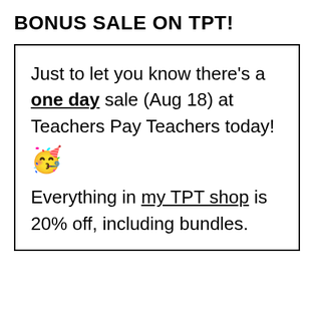BONUS SALE ON TPT!
Just to let you know there's a one day sale (Aug 18) at Teachers Pay Teachers today! 🥳

Everything in my TPT shop is 20% off, including bundles.